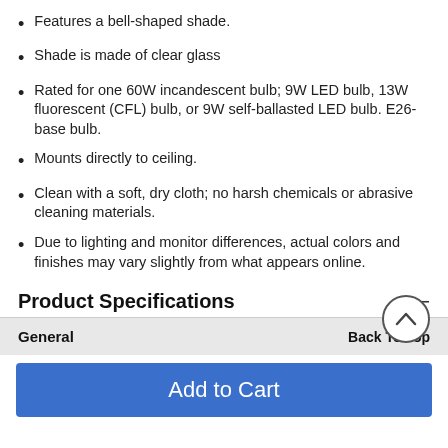Features a bell-shaped shade.
Shade is made of clear glass
Rated for one 60W incandescent bulb; 9W LED bulb, 13W fluorescent (CFL) bulb, or 9W self-ballasted LED bulb. E26-base bulb.
Mounts directly to ceiling.
Clean with a soft, dry cloth; no harsh chemicals or abrasive cleaning materials.
Due to lighting and monitor differences, actual colors and finishes may vary slightly from what appears online.
Product Specifications
| General | Back To Top |
| --- | --- |